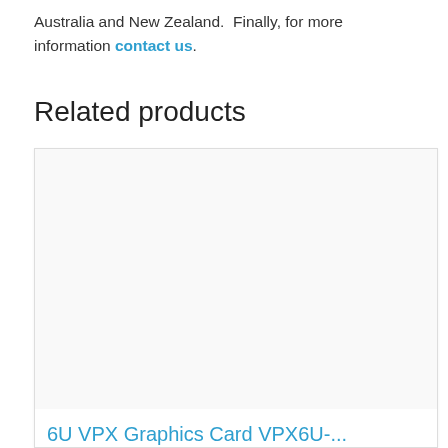Australia and New Zealand.  Finally, for more information contact us.
Related products
[Figure (other): Product card image area for 6U VPX Graphics Card VPX6U-... — white/blank image placeholder]
6U VPX Graphics Card VPX6U-...
WOLF's Model VPX6U-P5200E-DUAL-VO is a 6U VPX ...